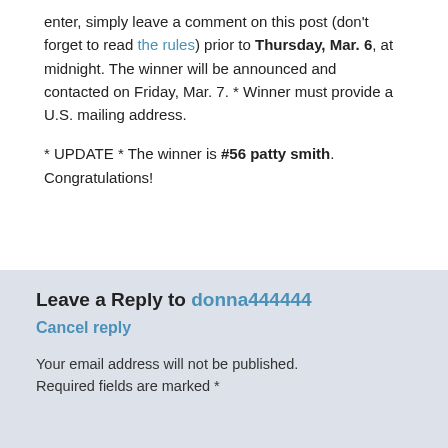enter, simply leave a comment on this post (don't forget to read the rules) prior to Thursday, Mar. 6, at midnight. The winner will be announced and contacted on Friday, Mar. 7. * Winner must provide a U.S. mailing address.
* UPDATE * The winner is #56 patty smith. Congratulations!
Leave a Reply to donna444444
Cancel reply
Your email address will not be published. Required fields are marked *